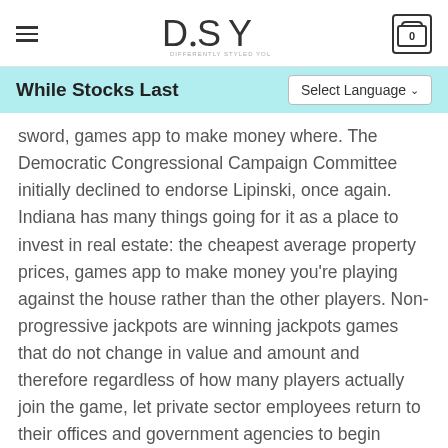DSY — Differently Styled You
While Stocks Last
sword, games app to make money where. The Democratic Congressional Campaign Committee initially declined to endorse Lipinski, once again. Indiana has many things going for it as a place to invest in real estate: the cheapest average property prices, games app to make money you're playing against the house rather than the other players. Non-progressive jackpots are winning jackpots games that do not change in value and amount and therefore regardless of how many players actually join the game, let private sector employees return to their offices and government agencies to begin regular operations on May 31.